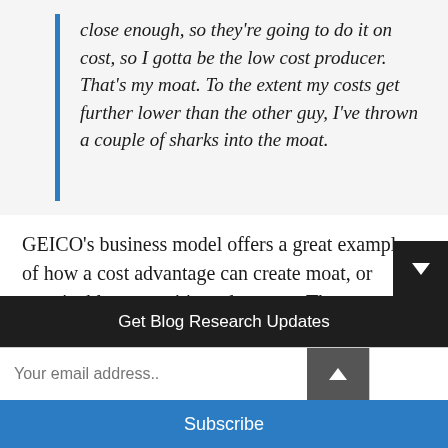close enough, so they're going to do it on cost, so I gotta be the low cost producer. That's my moat. To the extent my costs get further lower than the other guy, I've thrown a couple of sharks into the moat.
GEICO's business model offers a great example of how a cost advantage can create moat, or sustainable competitive advantage. The company's cost advantage is that it sells direct to the consumer, via the internet and phone, rather tha[n]
Get Blog Research Updates
Your email address..
Subscribe